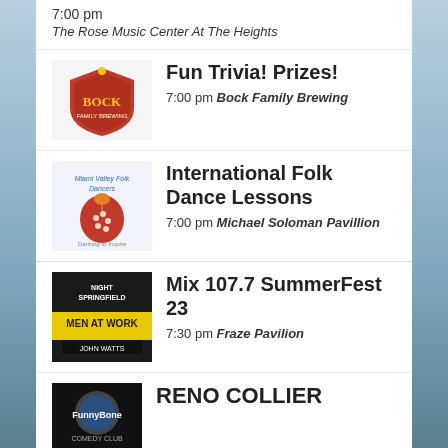7:00 pm
The Rose Music Center At The Heights
Fun Trivia! Prizes!
7:00 pm Bock Family Brewing
International Folk Dance Lessons
7:00 pm Michael Soloman Pavillion
Mix 107.7 SummerFest 23
7:30 pm Fraze Pavilion
RENO COLLIER
7:30 pm
Dayton Funny Bone Comedy Club